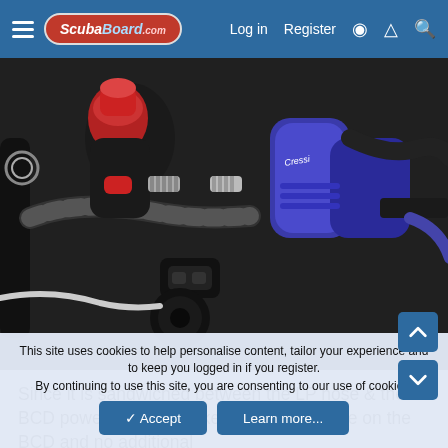ScubaBoard.com — Log in  Register
[Figure (photo): Close-up photo of scuba diving BCD inflator equipment including a red-capped inflator, a blue Cressi power inflator, metal knurled connectors, hoses, and black BCD webbing/clips on a dark background]
Since it is sandwiched between the LP hose & the BCD power inflator, it takes not much space on the BCD and no additional
This site uses cookies to help personalise content, tailor your experience and to keep you logged in if you register.
By continuing to use this site, you are consenting to our use of cookies.
✓ Accept   Learn more...